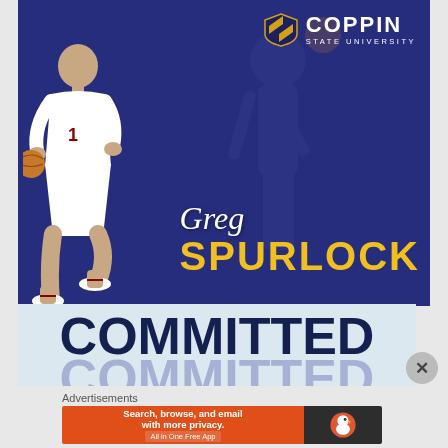[Figure (photo): Coppin State University college basketball recruitment announcement graphic. Dark navy blue background with a basketball player wearing jersey #1 in white uniform on the left. Large text reads 'Greg SPURLOCK' in script and bold gold letters. Coppin State University logo with shield in upper right. Bottom section has light blue background with 'COMMITTED' in large dark navy letters repeated with a shadow effect.]
Advertisements
[Figure (screenshot): DuckDuckGo advertisement banner. Orange left side reads 'Search, browse, and email with more privacy. All in One Free App'. Dark right side shows DuckDuckGo duck logo.]